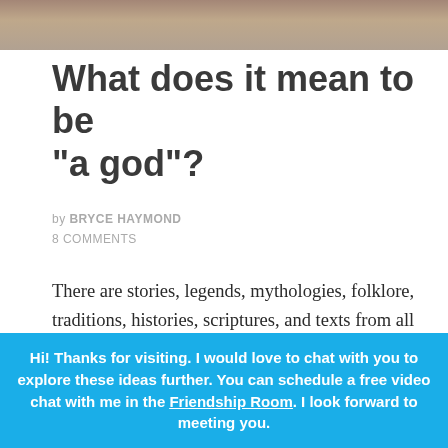[Figure (photo): Partial image at the top of the page showing what appears to be a classical painting or illustration with muted brown/sepia tones]
What does it mean to be “a god”?
by BRYCE HAYMOND
8 COMMENTS
There are stories, legends, mythologies, folklore, traditions, histories, scriptures, and texts from all around the world which tell us of humans who have reached the stature of the gods. They have, in essence, become "a god." Some recognizable
Hi! Thanks for visiting. I would love to chat with you to explore these ideas further. You can schedule a free video chat with me in the Friendship Room. I look forward to meeting you.